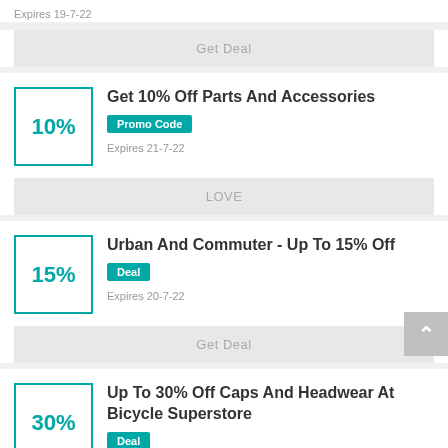Expires 19-7-22
Get Deal
Get 10% Off Parts And Accessories
Promo Code
Expires 21-7-22
LOVE
Urban And Commuter - Up To 15% Off
Deal
Expires 20-7-22
Get Deal
Up To 30% Off Caps And Headwear At Bicycle Superstore
Deal
Expires 8-8-22